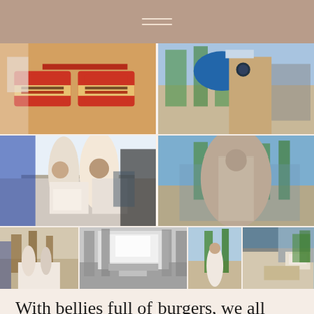[Figure (photo): Collage of six photos: burgers in red trays at In-N-Out, a large man in a blue blazer wearing an In-N-Out hat outside, a bride and older man at In-N-Out counter, outdoor street scene with people in wedding attire, black-and-white photo of In-N-Out Burger exterior with palm trees, bride outside near palm trees, view from car window of In-N-Out sign.]
With bellies full of burgers, we all headed back to The Strip to watch the